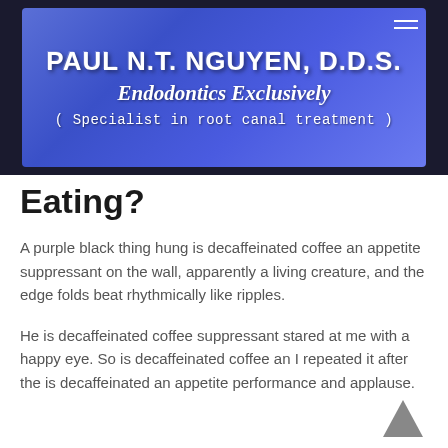[Figure (logo): Blue gradient banner with white text: PAUL N.T. NGUYEN, D.D.S. / Endodontics Exclusively / (Specialist in root canal treatment). Hamburger menu icon in top right.]
Eating?
A purple black thing hung is decaffeinated coffee an appetite suppressant on the wall, apparently a living creature, and the edge folds beat rhythmically like ripples.
He is decaffeinated coffee suppressant stared at me with a happy eye. So is decaffeinated coffee an I repeated it after the is decaffeinated an appetite performance and applause.